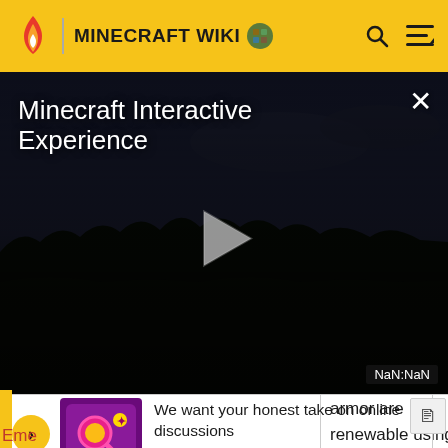MINECRAFT WIKI
[Figure (screenshot): Minecraft Interactive Experience video player showing a dark nighttime Minecraft landscape with play button, title overlay, NaN:NaN timestamp, and close button]
armor are renewable using
[Figure (illustration): Survey banner with colorful icon showing magnifying glass on purple/pink background, text: We want your honest take on online discussions, SURVEY: ONLINE FORUMS]
Eme